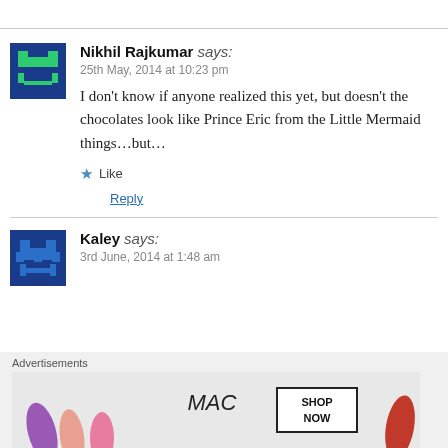[Figure (illustration): Pixel art avatar for Nikhil Rajkumar — blue/green pixelated character icon]
Nikhil Rajkumar says:
25th May, 2014 at 10:23 pm
I don't know if anyone realized this yet, but doesn't the chocolates look like Prince Eric from the Little Mermaid things…but…
★ Like
Reply
[Figure (illustration): Pixel art avatar for Kaley — blue pixelated character icon]
Kaley says:
3rd June, 2014 at 1:48 am
Advertisements
[Figure (photo): MAC cosmetics advertisement with lipsticks and SHOP NOW button]